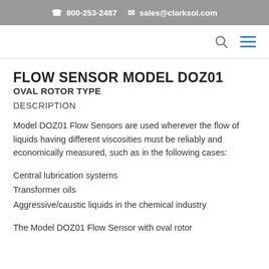800-253-2497  sales@clarksol.com
FLOW SENSOR MODEL DOZ01
OVAL ROTOR TYPE
DESCRIPTION
Model DOZ01 Flow Sensors are used wherever the flow of liquids having different viscosities must be reliably and economically measured, such as in the following cases:
Central lubrication systems
Transformer oils
Aggressive/caustic liquids in the chemical industry
The Model DOZ01 Flow Sensor with oval rotor